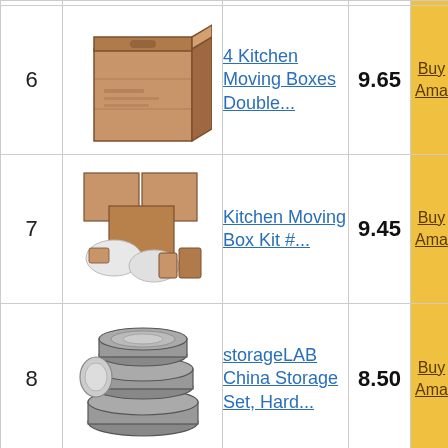| # | Image | Product | Score | Buy |
| --- | --- | --- | --- | --- |
| 6 | [box image] | 4 Kitchen Moving Boxes Double... | 9.65 | Buy on Amazon |
| 7 | [kit image] | Kitchen Moving Box Kit #... | 9.45 | Buy on Amazon |
| 8 | [storage image] | storageLAB China Storage Set, Hard... | 8.50 | Buy on Amazon |